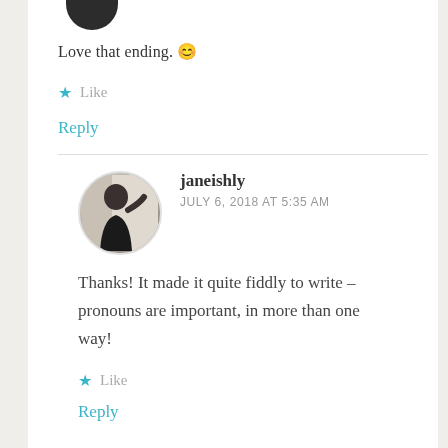Love that ending. 😊
★ Like
Reply
janeishly
JULY 6, 2018 AT 5:35 AM
Thanks! It made it quite fiddly to write – pronouns are important, in more than one way!
★ Like
Reply